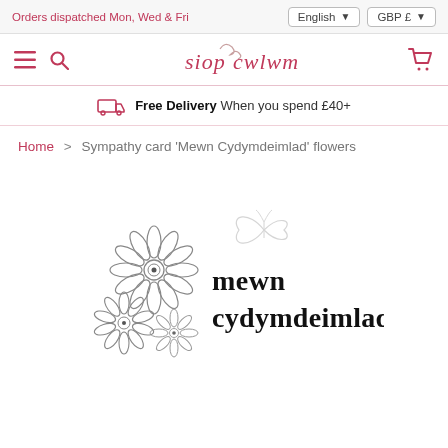Orders dispatched Mon, Wed & Fri | English | GBP £
[Figure (logo): Siop Cwlwm logo with decorative swirl typography in pink/rose color]
Free Delivery When you spend £40+
Home > Sympathy card 'Mewn Cydymdeimlad' flowers
[Figure (photo): Sympathy card illustration showing outline daisy flowers and a butterfly with text 'mewn cydymdeimlad' in black serif font]